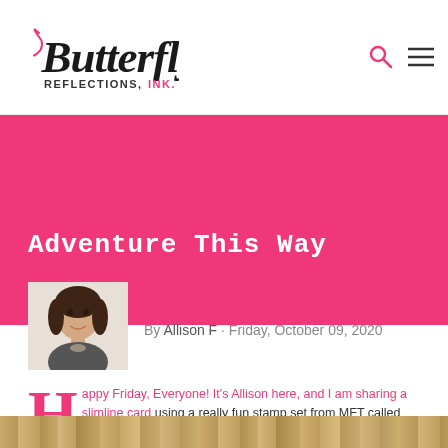Butterfly Reflections, Ink. [logo with search and menu icons]
Adventure This Way
By Allison F · Friday, October 09, 2020
[Figure (photo): Author headshot photo of Allison F, a woman with dark hair, smiling, against white background]
Happy Friday, Everyone! It's Allison here, and I am sharing a slimline card using a really fun stamp set from MFT called Adorable Adventures, which is available in the Butterfly Reflections, Ink online shop.
[Figure (photo): Wood grain texture strip at the bottom of the page]